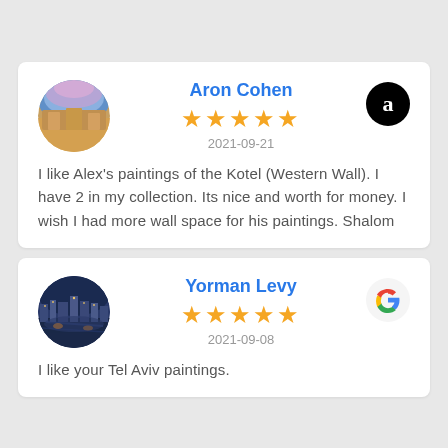Aron Cohen
★★★★★
2021-09-21
I like Alex's paintings of the Kotel (Western Wall). I have 2 in my collection. Its nice and worth for money. I wish I had more wall space for his paintings. Shalom
Yorman Levy
★★★★★
2021-09-08
I like your Tel Aviv paintings.